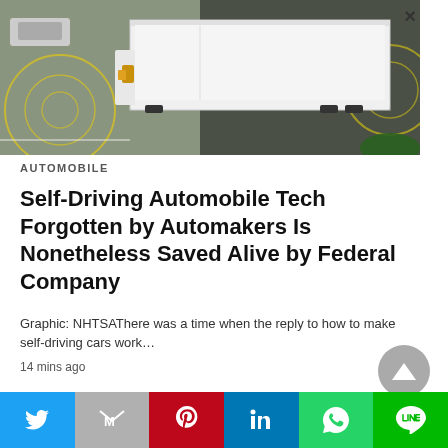[Figure (photo): Aerial view of self-driving car technology demonstration with a white truck/trailer and sensor detection circles overlaid on a road intersection]
AUTOMOBILE
Self-Driving Automobile Tech Forgotten by Automakers Is Nonetheless Saved Alive by Federal Company
Graphic: NHTSAThere was a time when the reply to how to make self-driving cars work…
14 mins ago